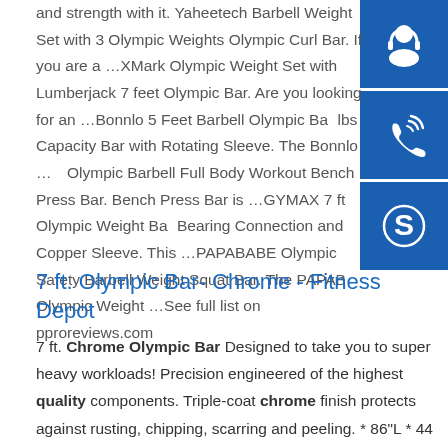and strength with it. Yaheetech Barbell Weight Set with 3 Olympic Weights Olympic Curl Bar. If you are a …XMark Olympic Weight Set with Lumberjack 7 feet Olympic Bar. Are you looking for an …Bonnlo 5 Feet Barbell Olympic Bar lbs Capacity Bar with Rotating Sleeve. The Bonnlo …R Olympic Barbell Full Body Workout Bench Press Bar. Bench Press Bar is …GYMAX 7 ft Olympic Weight Bar Bearing Connection and Copper Sleeve. This …PAPABABE Olympic Safety Barbell Weight Squat Bar. The PAPAB Olympic Weight …See full list on pproreviews.com
[Figure (other): Three blue sidebar buttons with icons: headset/support icon, phone/call icon, and Skype icon]
7 ft. Olympic Bar- Chrome - Fitness Depot
7 ft. Chrome Olympic Bar Designed to take you to super heavy workloads! Precision engineered of the highest quality components. Triple-coat chrome finish protects against rusting, chipping, scarring and peeling. * 86"L * 44 lbs. * 600